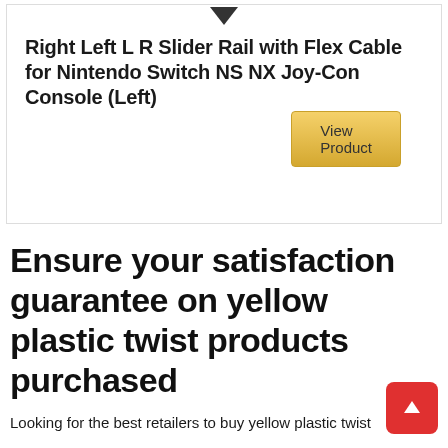[Figure (other): Downward-pointing arrow/chevron icon at top center of product card]
Right Left L R Slider Rail with Flex Cable for Nintendo Switch NS NX Joy-Con Console (Left)
View Product
Ensure your satisfaction guarantee on yellow plastic twist products purchased
Looking for the best retailers to buy yellow plastic twist